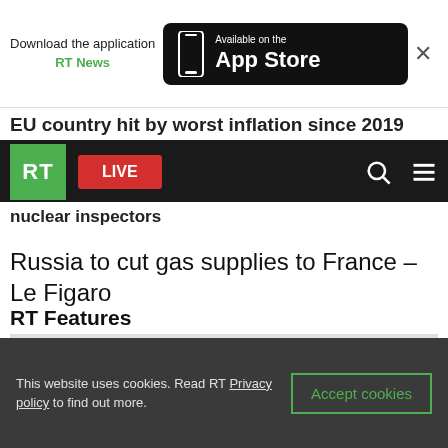[Figure (screenshot): App store download banner with phone icon and 'Available on the App Store' button]
EU country hit by worst inflation since 2019
[Figure (screenshot): RT navigation bar with green RT logo, red LIVE button, search and menu icons]
nuclear inspectors
Russia to cut gas supplies to France – Le Figaro
RT Features
[Figure (photo): Greyed out feature image placeholder]
This website uses cookies. Read RT Privacy policy to find out more.